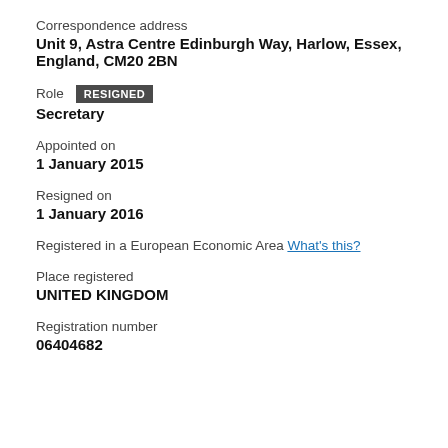Correspondence address
Unit 9, Astra Centre Edinburgh Way, Harlow, Essex, England, CM20 2BN
Role  RESIGNED
Secretary
Appointed on
1 January 2015
Resigned on
1 January 2016
Registered in a European Economic Area What's this?
Place registered
UNITED KINGDOM
Registration number
06404682